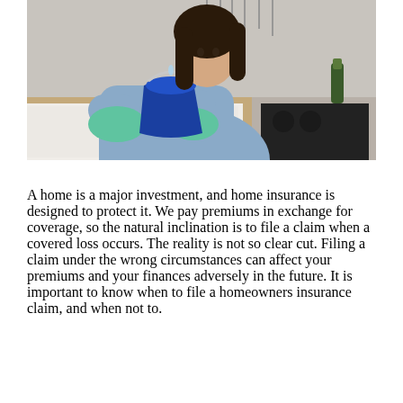[Figure (photo): A woman wearing a light blue shirt and green rubber gloves holds a blue plastic bucket in a kitchen setting, looking upward, apparently catching water from a leak in the ceiling.]
A home is a major investment, and home insurance is designed to protect it. We pay premiums in exchange for coverage, so the natural inclination is to file a claim when a covered loss occurs. The reality is not so clear cut. Filing a claim under the wrong circumstances can affect your premiums and your finances adversely in the future. It is important to know when to file a homeowners insurance claim, and when not to.